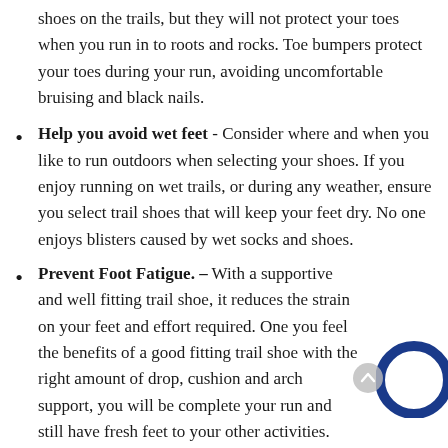shoes on the trails, but they will not protect your toes when you run in to roots and rocks. Toe bumpers protect your toes during your run, avoiding uncomfortable bruising and black nails.
Help you avoid wet feet - Consider where and when you like to run outdoors when selecting your shoes. If you enjoy running on wet trails, or during any weather, ensure you select trail shoes that will keep your feet dry. No one enjoys blisters caused by wet socks and shoes.
Prevent Foot Fatigue. – With a supportive and well fitting trail shoe, it reduces the strain on your feet and effort required. One you feel the benefits of a good fitting trail shoe with the right amount of drop, cushion and arch support, you will be complete your run and still have fresh feet to your other activities.